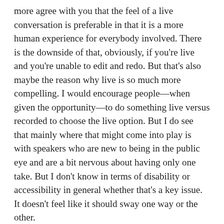more agree with you that the feel of a live conversation is preferable in that it is a more human experience for everybody involved. There is the downside of that, obviously, if you're live and you're unable to edit and redo. But that's also maybe the reason why live is so much more compelling. I would encourage people—when given the opportunity—to do something live versus recorded to choose the live option. But I do see that mainly where that might come into play is with speakers who are new to being in the public eye and are a bit nervous about having only one take. But I don't know in terms of disability or accessibility in general whether that's a key issue. It doesn't feel like it should sway one way or the other.
[Lou] The takeaway I have from this discussion about accessibility for speakers is—and I'll take a page out of the accessibility book that we published by Sarah Horton and Whitney Queensberry, which is it's really an accessibility thing first. If you think about accessibility from the user's...